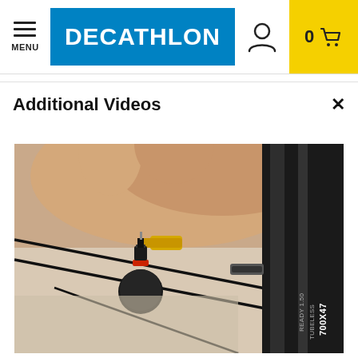DECATHLON — Menu, Account, Cart (0)
Additional Videos
[Figure (photo): Close-up photo of a hand holding a bicycle wheel valve/pump connector, showing a black and red presta valve adapter attached to a yellow tube, with a black bicycle rim visible on the right side bearing text '700x47' and 'TUBELESS READY 1.50']